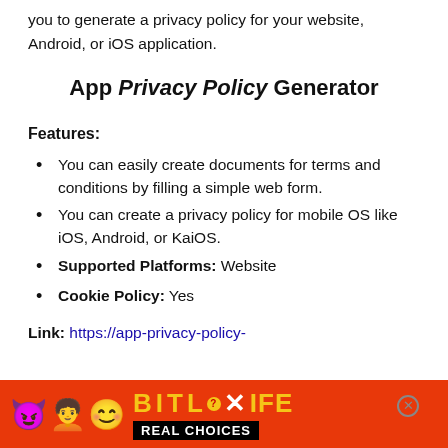you to generate a privacy policy for your website, Android, or iOS application.
App Privacy Policy Generator
Features:
You can easily create documents for terms and conditions by filling a simple web form.
You can create a privacy policy for mobile OS like iOS, Android, or KaiOS.
Supported Platforms: Website
Cookie Policy: Yes
Link: https://app-privacy-policy-
[Figure (other): BitLife app advertisement banner with emoji characters, BitLife logo, and 'Real Choices' tagline on red/orange background]